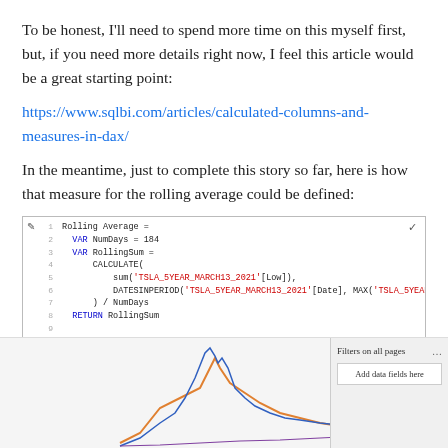To be honest, I'll need to spend more time on this myself first, but, if you need more details right now, I feel this article would be a great starting point:
https://www.sqlbi.com/articles/calculated-columns-and-measures-in-dax/
In the meantime, just to complete this story so far, here is how that measure for the rolling average could be defined:
[Figure (screenshot): Code editor screenshot showing a DAX measure definition for Rolling Average using VAR NumDays = 184, VAR RollingSum = CALCULATE(sum('TSLA_5YEAR_MARCH13_2021'[Low]), DATESINPERIOD('TSLA_5YEAR_MARCH13_2021'[Date], MAX('TSLA_5YEAR_MARCH13_2021'[Date]), -NumDays, Day)) / NumDays, RETURN RollingSum]
[Figure (screenshot): Partial screenshot of a Power BI report showing a line chart with blue and orange lines, and a Filters panel on the right with 'Filters on all pages' and 'Add data fields here' options.]